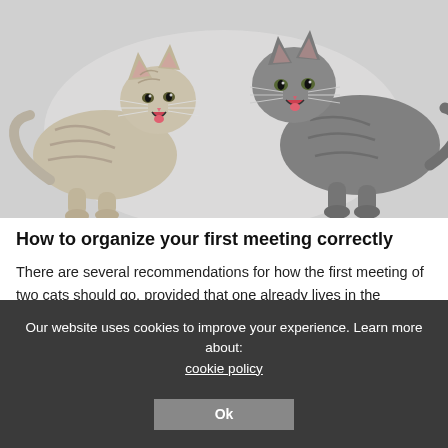[Figure (photo): Two cats facing each other with mouths open, hissing or fighting. One is a light-colored tabby on the left, one is a dark grey tabby on the right. Background is light grey.]
How to organize your first meeting correctly
There are several recommendations for how the first meeting of two cats should go, provided that one already lives in the apartment. Open all the doors to the rooms in advance so that
Our website uses cookies to improve your experience. Learn more about: cookie policy
Ok